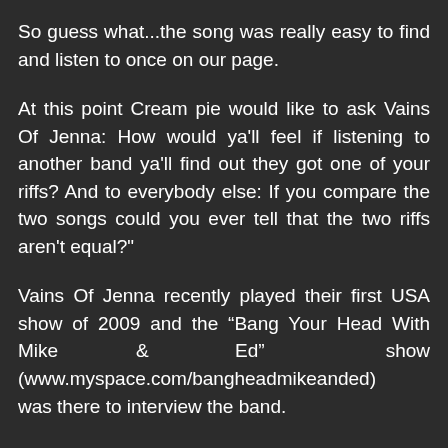So guess what...the song was really easy to find and listen to once on our page.
At this point Cream pie would like to ask Vains Of Jenna: How would ya'll feel if listening to another band ya'll find out they got one of your riffs? And to everybody else: If you compare the two songs could you ever tell that the two riffs aren't equal?"
Vains Of Jenna recently played their first USA show of 2009 and the “Bang Your Head With Mike & Ed” show (www.myspace.com/bangheadmikeanded) was there to interview the band.
Catch footage from the show below, including the unveiling of their new single, “Get It On” as well as them performing the Tom Petty classic